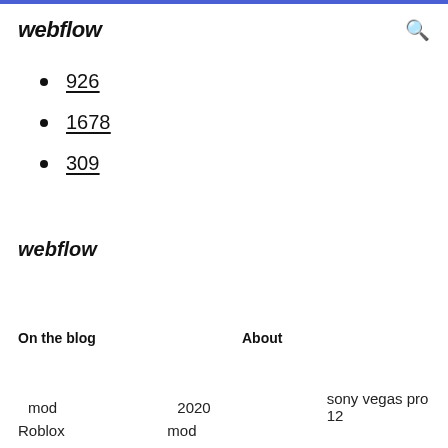webflow  [search icon]
926
1678
309
webflow
On the blog   About
mod   2020   sony vegas pro 12
Roblox   mod